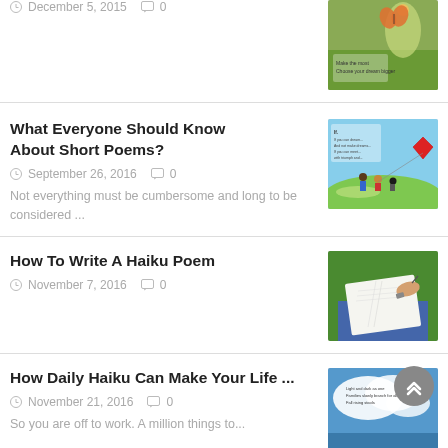December 5, 2015   0
[Figure (photo): Decorative nature photo with butterfly and flowers, with text overlay]
What Everyone Should Know About Short Poems?
September 26, 2016   0
[Figure (illustration): Illustrated scene of children flying a red kite in a green field with a poem overlay]
Not everything must be cumbersome and long to be considered ...
How To Write A Haiku Poem
November 7, 2016   0
[Figure (photo): Photo of a person writing in a notebook while lying on grass]
How Daily Haiku Can Make Your Life ...
November 21, 2016   0
[Figure (photo): Photo of clouds in a blue sky with text overlay of a haiku poem]
So you are off to work. A million things to...